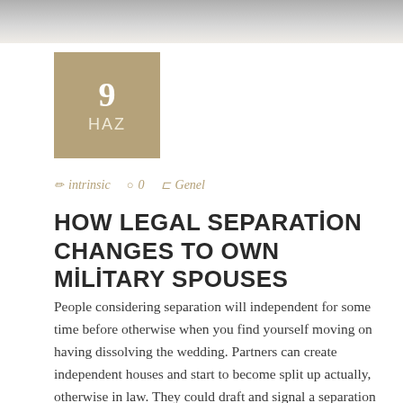[Figure (photo): Decorative header image with a grey/stone textured background at the top of the page]
9
HAZ
✏ intrinsic  ○ 0  ⊂ Genel
HOW LEGAL SEPARATİON CHANGES TO OWN MİLİTARY SPOUSES
People considering separation will independent for some time before otherwise when you find yourself moving on having dissolving the wedding. Partners can create independent houses and start to become split up actually, otherwise in law. They could draft and signal a separation arrangement outlining exactly how possessions might be utilized otherwise split, and therefore individual will pay specific debts and exactly